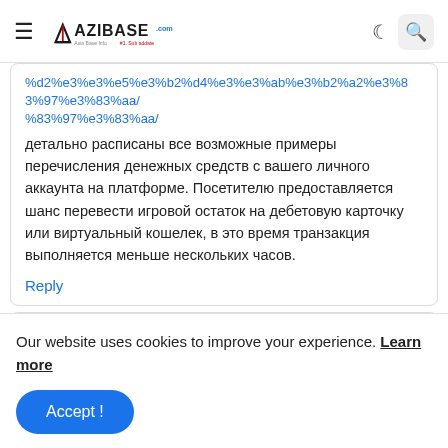AZIBASE.COM
%d2%e3%e3%e5%e3%b2%d4%e3%e3%ab%e3%b2%a2%e3%83%97%e3%83%aa/ детально расписаны все возможные примеры перечисления денежных средств с вашего личного аккаунта на платформе. Посетителю предоставляется шанс перевести игровой остаток на дебетовую карточку или виртуальный кошелек, в это время транзакция выполняется меньше нескольких часов.
Reply
Our website uses cookies to improve your experience. Learn more
Accept !